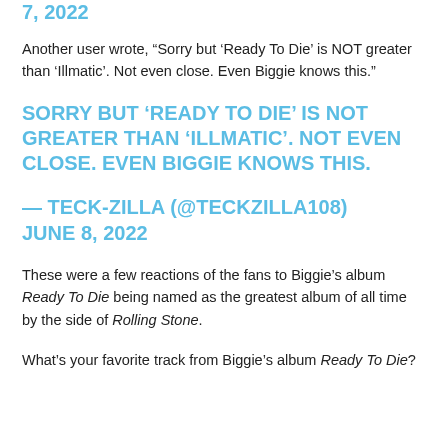7, 2022
Another user wrote, “Sorry but ‘Ready To Die’ is NOT greater than ‘Illmatic’. Not even close. Even Biggie knows this.”
SORRY BUT ‘READY TO DIE’ IS NOT GREATER THAN ‘ILLMATIC’. NOT EVEN CLOSE. EVEN BIGGIE KNOWS THIS.
— TECK-ZILLA (@TECKZILLA108) JUNE 8, 2022
These were a few reactions of the fans to Biggie’s album Ready To Die being named as the greatest album of all time by the side of Rolling Stone.
What’s your favorite track from Biggie’s album Ready To Die?